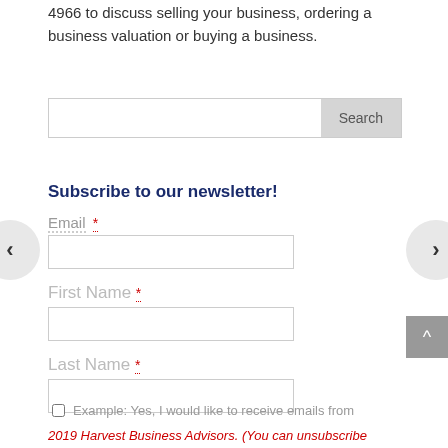4966 to discuss selling your business, ordering a business valuation or buying a business.
Search
Subscribe to our newsletter!
Email *
First Name *
Last Name *
Example: Yes, I would like to receive emails from
2019 Harvest Business Advisors. (You can unsubscribe